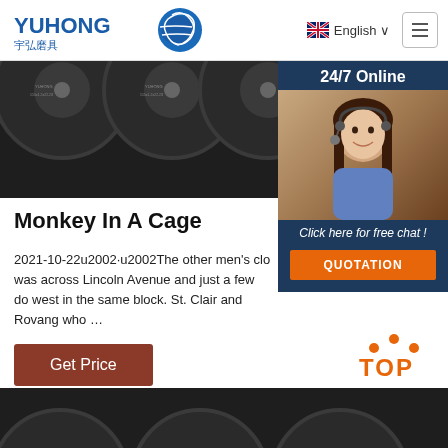[Figure (logo): Yuhong logo with text YUHONG in blue, Chinese characters 宇弘磨具, and a blue wave/globe icon]
English ∨
[Figure (photo): Three black abrasive cutting discs with labels, partially visible, on dark background]
[Figure (photo): 24/7 Online support panel with smiling female agent wearing headset, and Click here for free chat! text, and QUOTATION orange button]
Monkey In A Cage
2021-10-22u2002·u2002The other men's clo was across Lincoln Avenue and just a few do west in the same block. St. Clair and Rovang who …
Get Price
[Figure (other): TOP button with orange dots arc above and orange bold TOP text]
[Figure (photo): Bottom strip showing partial black abrasive cutting discs]